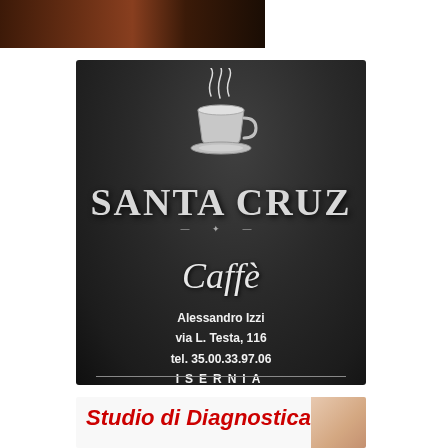[Figure (photo): Partial photo visible at top of page, dark tones suggesting people or scene]
[Figure (logo): Santa Cruz Caffè advertisement on dark textured background. Coffee cup with steam logo at top. Brand name SANTA CRUZ in large serif letters, Caffè in italic script below. Address: Alessandro Izzi, via L. Testa 116, tel. 35.00.33.97.06, ISERNIA]
[Figure (photo): Bottom advertisement partially visible: Studio di Diagnostica text in red italic, with photo of person on right side]